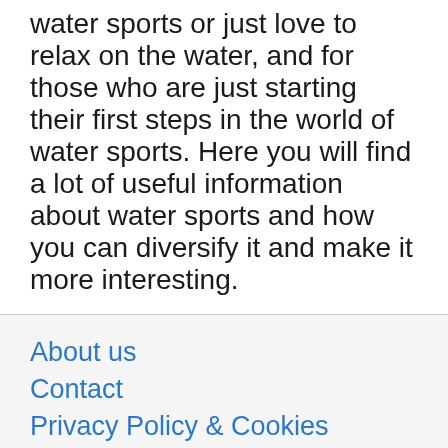water sports or just love to relax on the water, and for those who are just starting their first steps in the world of water sports. Here you will find a lot of useful information about water sports and how you can diversify it and make it more interesting.
About us
Contact
Privacy Policy & Cookies
ATTENTION TO RIGHT HOLDERS! All materials are posted on the site strictly for informational and educational purposes! If you believe that the posting of any material